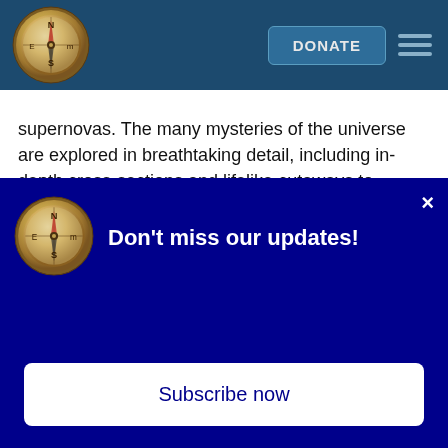[Figure (logo): Compass logo in navigation bar, circular compass with gold/brass appearance showing cardinal directions N, S, E, W]
[Figure (other): DONATE button and hamburger menu icon in navigation bar]
supernovas. The many mysteries of the universe are explored in breathtaking detail, including in-depth cross-sections and lifelike cutaways to showcase the planets, stars, moons, and space stations. Featuring absolutely everything under the Sun, this exciting visual reference guide is your guaranteed one-stop shop for space. Filled with the latest facts, infographics, and NASA images, Space! takes you on a journey that is truly out of this world before
[Figure (logo): Compass logo in popup overlay, circular compass with gold/brass appearance]
Don't miss our updates!
Subscribe now